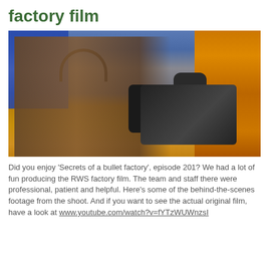factory film
[Figure (photo): A man wearing headphones and a plaid shirt holds a professional video camera with a microphone/wind cover attached, filming in an industrial factory setting. Behind him is an orange industrial structure and blue background.]
Did you enjoy 'Secrets of a bullet factory', episode 201? We had a lot of fun producing the RWS factory film. The team and staff there were professional, patient and helpful. Here's some of the behind-the-scenes footage from the shoot. And if you want to see the actual original film, have a look at www.youtube.com/watch?v=fYTzWUWnzsI